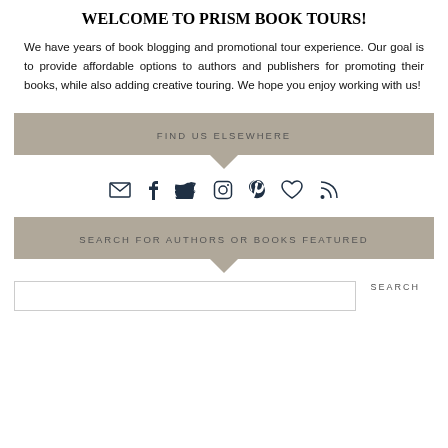WELCOME TO PRISM BOOK TOURS!
We have years of book blogging and promotional tour experience. Our goal is to provide affordable options to authors and publishers for promoting their books, while also adding creative touring. We hope you enjoy working with us!
FIND US ELSEWHERE
[Figure (infographic): Row of social media icons: email, facebook, twitter, instagram, pinterest, heart/bloglovin, RSS feed]
SEARCH FOR AUTHORS OR BOOKS FEATURED
SEARCH (search input box)